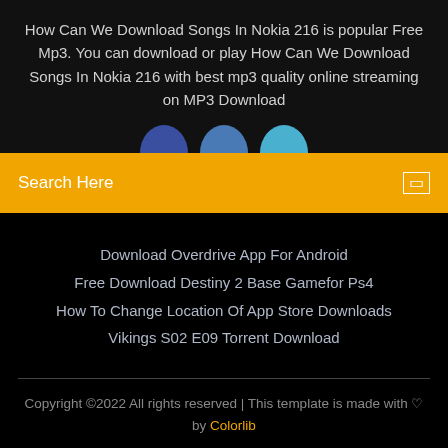How Can We Download Songs In Nokia 216 is popular Free Mp3. You can download or play How Can We Download Songs In Nokia 216 with best mp3 quality online streaming on MP3 Download
[Figure (illustration): Three partial circles (social media icons) in blue tones partially visible at top of search bar]
Search Here
Download Overdrive App For Android
Free Download Destiny 2 Base Gamefor Ps4
How To Change Location Of App Store Downloads
Vikings S02 E09 Torrent Download
Copyright ©2022 All rights reserved | This template is made with ♡ by Colorlib